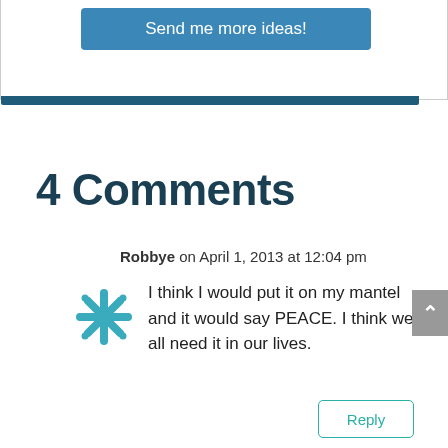[Figure (screenshot): Blue button labeled 'Send me more ideas!' with a dark blue bar below it]
4 Comments
Robbye on April 1, 2013 at 12:04 pm
[Figure (illustration): Teal/blue snowflake-style avatar icon]
I think I would put it on my mantel and it would say PEACE. I think we all need it in our lives.
Reply